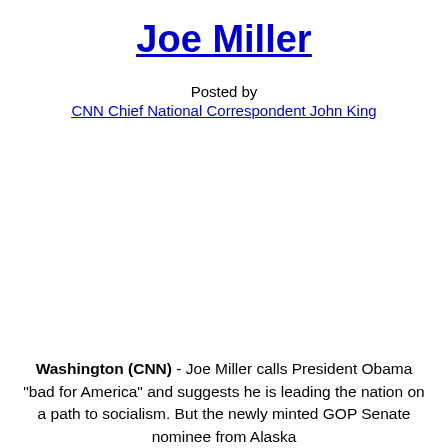Joe Miller
Posted by
CNN Chief National Correspondent John King
Washington (CNN) - Joe Miller calls President Obama "bad for America" and suggests he is leading the nation on a path to socialism. But the newly minted GOP Senate nominee from Alaska